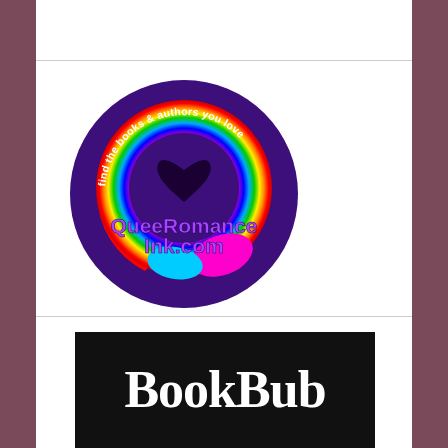[Figure (logo): QueerRomance Ink logo: circular purple badge with rainbow Q letterform and heart, text 'find the books & authors you love' along top arc, 'QueeRomance Ink.com' in center]
[Figure (logo): BookBub logo: white bold serif text 'BookBub' on black rectangular background]